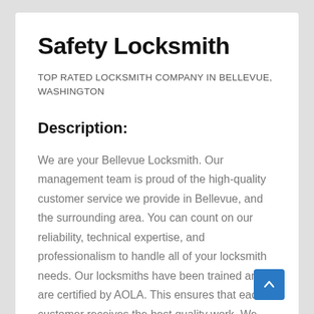Safety Locksmith
TOP RATED LOCKSMITH COMPANY IN BELLEVUE, WASHINGTON
Description:
We are your Bellevue Locksmith. Our management team is proud of the high-quality customer service we provide in Bellevue, and the surrounding area. You can count on our reliability, technical expertise, and professionalism to handle all of your locksmith needs. Our locksmiths have been trained and are certified by AOLA. This ensures that each customer receives the best quality work. We work quickly to give you the services you need when you need them. We offer